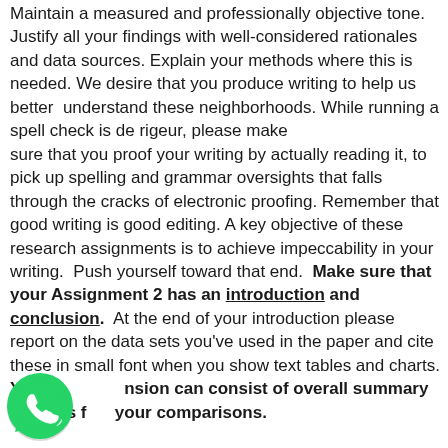Maintain a measured and professionally objective tone. Justify all your findings with well-considered rationales and data sources. Explain your methods where this is needed. We desire that you produce writing to help us better understand these neighborhoods. While running a spell check is de rigeur, please make sure that you proof your writing by actually reading it, to pick up spelling and grammar oversights that falls through the cracks of electronic proofing. Remember that good writing is good editing. A key objective of these research assignments is to achieve impeccability in your writing. Push yourself toward that end. Make sure that your Assignment 2 has an introduction and conclusion. At the end of your introduction please report on the data sets you've used in the paper and cite these in small font when you show text tables and charts. Your conclusion can consist of overall summary findings from your comparisons.
[Figure (logo): WhatsApp green phone icon logo in bottom left corner]